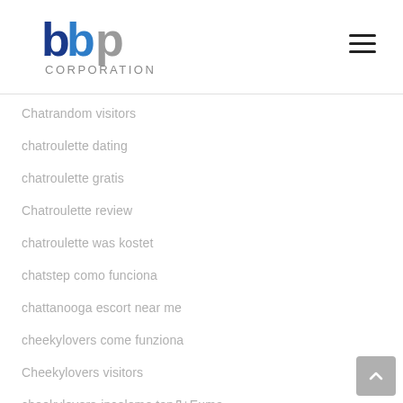bbp CORPORATION
Chatrandom visitors
chatroulette dating
chatroulette gratis
Chatroulette review
chatroulette was kostet
chatstep como funciona
chattanooga escort near me
cheekylovers come funziona
Cheekylovers visitors
cheekylovers-inceleme tanД±Eцma